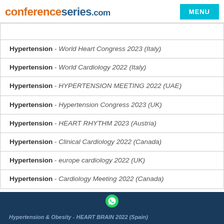conferenceseries.com MENU
Hypertension - World Heart Congress 2023 (Italy)
Hypertension - World Cardiology 2022 (Italy)
Hypertension - HYPERTENSION MEETING 2022 (UAE)
Hypertension - Hypertension Congress 2023 (UK)
Hypertension - HEART RHYTHM 2023 (Austria)
Hypertension - Clinical Cardiology 2022 (Canada)
Hypertension - europe cardiology 2022 (UK)
Hypertension - Cardiology Meeting 2022 (Canada)
Hypertension & Obesity - HEART BRAIN 2022 (Spain)